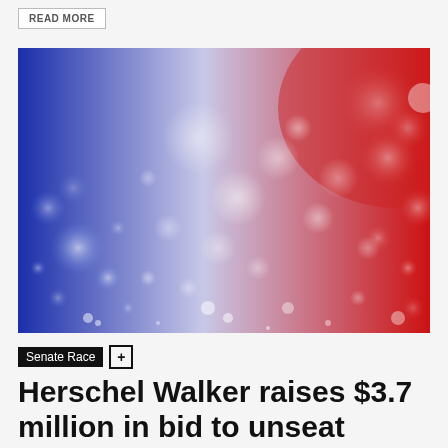READ MORE
[Figure (photo): Abstract bokeh background image with blue on the left side and red on the right side, representing political party colors, with circular light bokeh effects throughout]
Senate Race +
Herschel Walker raises $3.7 million in bid to unseat Georgia's Warnock